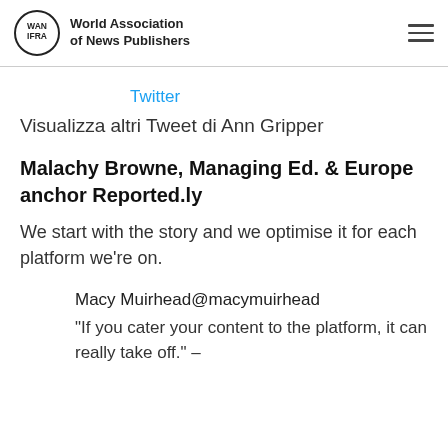World Association of News Publishers
Twitter
Visualizza altri Tweet di Ann Gripper
Malachy Browne, Managing Ed. & Europe anchor Reported.ly
We start with the story and we optimise it for each platform we're on.
Macy Muirhead@macymuirhead
"If you cater your content to the platform, it can really take off." –